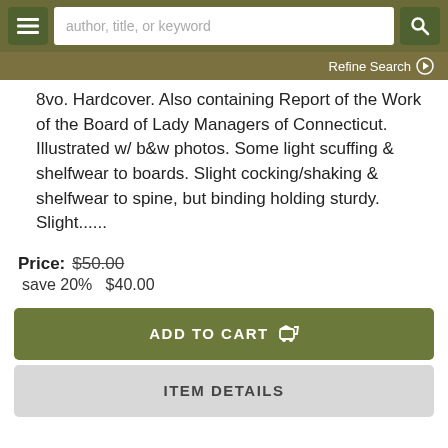author, title, or keyword | Refine Search
8vo. Hardcover. Also containing Report of the Work of the Board of Lady Managers of Connecticut. Illustrated w/ b&w photos. Some light scuffing & shelfwear to boards. Slight cocking/shaking & shelfwear to spine, but binding holding sturdy. Slight......
Price: $50.00
  save 20%   $40.00
ADD TO CART
ITEM DETAILS